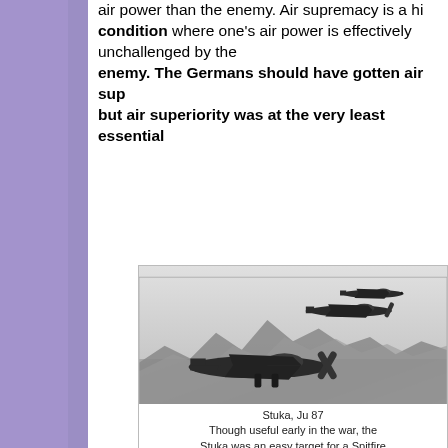air power than the enemy. Air supremacy is a high condition where one's air power is effectively unchallenged by the enemy. The Germans should have gotten air supremacy but air superiority was at the very least essential.
[Figure (photo): Black and white photograph of Stuka Ju 87 dive bombers in flight over mountainous terrain. Multiple aircraft visible, with a large aircraft in the foreground and two more in the background.]
Stuka, Ju 87
Though useful early in the war, the
Stuka was an easy target for a Spitfire